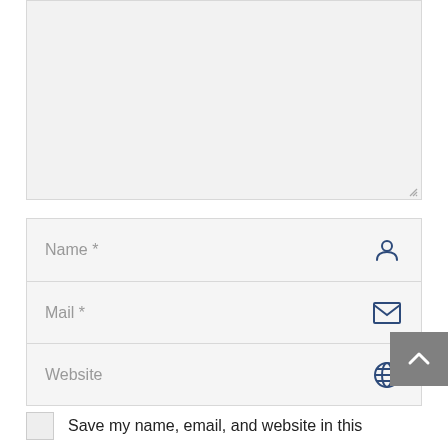[Figure (screenshot): A large empty textarea input field with a light gray background and resize handle at bottom-right corner.]
Name *
Mail *
Website
[Figure (screenshot): Gray back-to-top button with a white upward chevron arrow.]
Save my name, email, and website in this